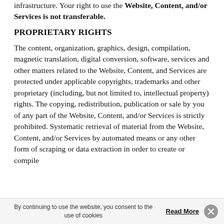infrastructure. Your right to use the Website, Content, and/or Services is not transferable.
PROPRIETARY RIGHTS
The content, organization, graphics, design, compilation, magnetic translation, digital conversion, software, services and other matters related to the Website, Content, and Services are protected under applicable copyrights, trademarks and other proprietary (including, but not limited to, intellectual property) rights. The copying, redistribution, publication or sale by you of any part of the Website, Content, and/or Services is strictly prohibited. Systematic retrieval of material from the Website, Content, and/or Services by automated means or any other form of scraping or data extraction in order to create or compile
By continuing to use the website, you consent to the use of cookies  Read More